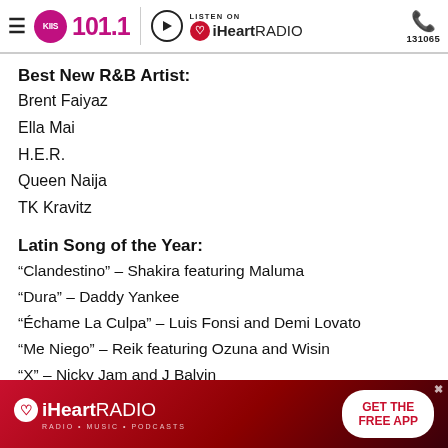KIIS 101.1 | Listen on iHeartRADIO | 131065
Best New R&B Artist:
Brent Faiyaz
Ella Mai
H.E.R.
Queen Naija
TK Kravitz
Latin Song of the Year:
“Clandestino” – Shakira featuring Maluma
“Dura” – Daddy Yankee
“Échame La Culpa” – Luis Fonsi and Demi Lovato
“Me Niego” – Reik featuring Ozuna and Wisin
“X” – Nicky Jam and J Balvin
[Figure (advertisement): iHeartRADIO advertisement banner with 'GET THE FREE APP' button]